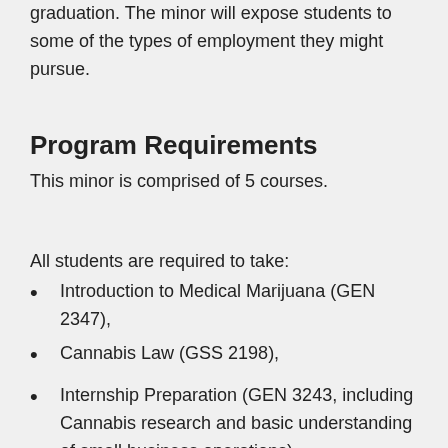graduation. The minor will expose students to some of the types of employment they might pursue.
Program Requirements
This minor is comprised of 5 courses.
All students are required to take:
Introduction to Medical Marijuana (GEN 2347),
Cannabis Law (GSS 2198),
Internship Preparation (GEN 3243, including Cannabis research and basic understanding of small business operations),
with opportunities for experiential